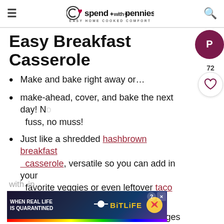spend with pennies — Easy Home Cooked Comfort
Easy Breakfast Casserole
Make and bake right away or…
make-ahead, cover, and bake the next day! No fuss, no muss!
Just like a shredded hashbrown breakfast casserole, versatile so you can add in your favorite veggies or even leftover taco meat!
Save time and use precooked sausages or pre-cooked bacon. Frozen hashbrowns can be found with …in, too.
[Figure (screenshot): Advertisement banner: BitLife game ad with text 'WHEN REAL LIFE IS QUARANTINED' and emoji characters, with a help/question button and close button.]